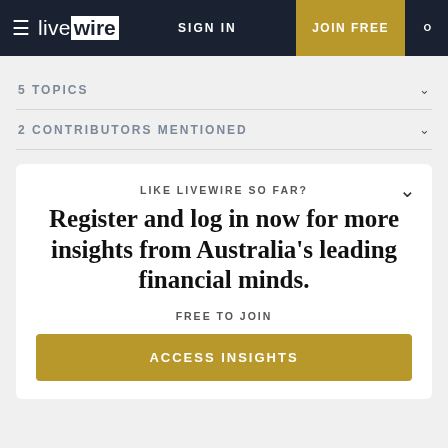≡ livewire SIGN IN JOIN FREE 🔍
5 TOPICS
2 CONTRIBUTORS MENTIONED
LIKE LIVEWIRE SO FAR?
Register and log in now for more insights from Australia's leading financial minds.
FREE TO JOIN
ACCESS INSIGHTS